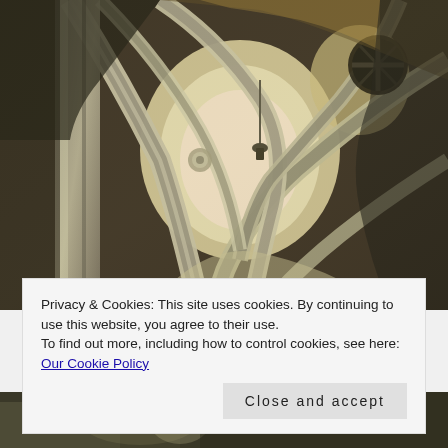[Figure (photo): Looking up at ornate Gothic cathedral stone arches with ribbed vaulting. Stone columns and decorative carved elements visible; circular windows in background. Warm amber and cool grey tones.]
Privacy & Cookies: This site uses cookies. By continuing to use this website, you agree to their use.
To find out more, including how to control cookies, see here: Our Cookie Policy
Close and accept
[Figure (photo): Partial view of another cathedral or architectural interior photo, partially visible at bottom of page.]